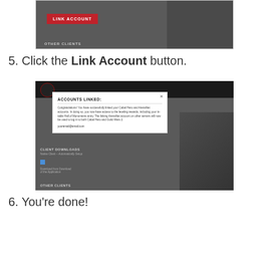[Figure (screenshot): Screenshot showing a website with a red 'LINK ACCOUNT' button and 'OTHER CLIENTS' section header on a dark background]
5. Click the Link Account button.
[Figure (screenshot): Screenshot showing a website with a modal dialog titled 'ACCOUNTS LINKED:' with congratulations message, email address, and CLIENT DOWNLOADS section below]
6. You're done!